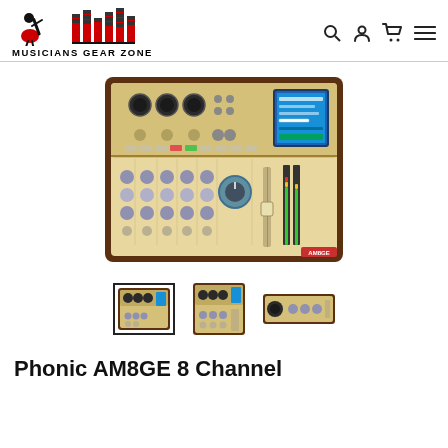MUSICIANS GEAR ZONE
[Figure (photo): Phonic AM8GE 8-channel audio mixer with gold/beige faceplate, knobs, faders, and blue LCD display]
[Figure (photo): Thumbnail 1 (selected): Front view of Phonic AM8GE mixer]
[Figure (photo): Thumbnail 2: Top/front angled view of Phonic AM8GE mixer]
[Figure (photo): Thumbnail 3: Side/rear view of Phonic AM8GE mixer]
Phonic AM8GE 8 Channel